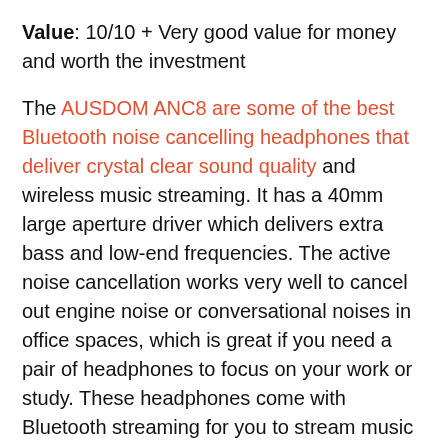Value: 10/10 + Very good value for money and worth the investment
The AUSDOM ANC8 are some of the best Bluetooth noise cancelling headphones that deliver crystal clear sound quality and wireless music streaming. It has a 40mm large aperture driver which delivers extra bass and low-end frequencies. The active noise cancellation works very well to cancel out engine noise or conversational noises in office spaces, which is great if you need a pair of headphones to focus on your work or study. These headphones come with Bluetooth streaming for you to stream music directly from your smartphone; it also features a wired function for you to connect to non-wireless music sources with a 3.5mm auxiliary cord. It comes with a built-in CSR Bluetooth chip which supports A2DP, AVRCP, and HSP, and supports wireless phone calls and TV music streaming. The ANC8 headphone is designed to be really comfortable with high grade protein leather pads